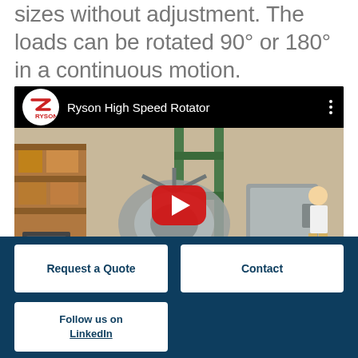sizes without adjustment. The loads can be rotated 90° or 180° in a continuous motion.
[Figure (screenshot): YouTube video thumbnail for 'Ryson High Speed Rotator' showing a high-speed rotator machine in a warehouse, with Ryson logo, video title, and a red YouTube play button overlay.]
Request a Quote
Contact
Follow us on LinkedIn